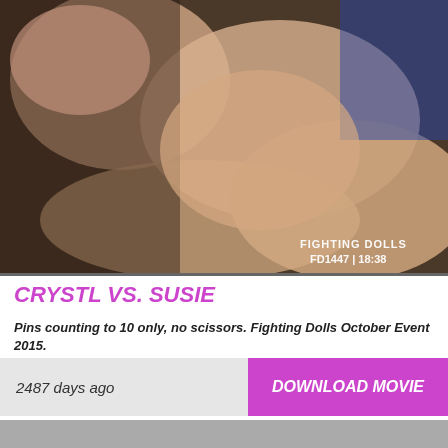[Figure (photo): Two women wrestling on a black leather mat, viewed from close angle showing legs and bodies. Watermark reads FIGHTING DOLLS FD1447 | 18:38 in bottom right corner.]
CRYSTL VS. SUSIE
Pins counting to 10 only, no scissors. Fighting Dolls October Event 2015.
2487 days ago
DOWNLOAD MOVIE